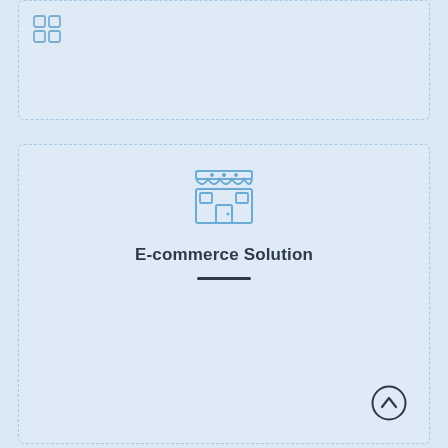[Figure (illustration): Top card with a grid/app icon in top-left corner on light blue dashed-border background]
[Figure (illustration): Bottom card with a store/shop icon, title E-commerce Solution, a divider line, and an up-arrow circle button]
E-commerce Solution